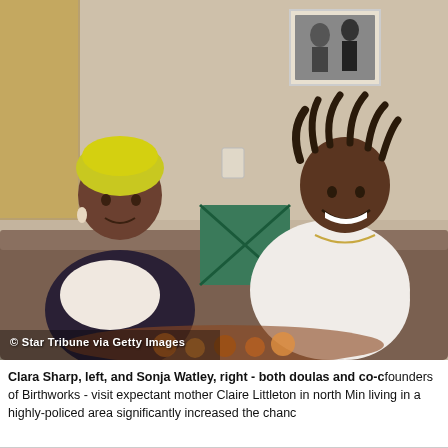[Figure (photo): Two women sitting on a couch indoors. The woman on the left wears a yellow head wrap and a dark cardigan. The woman on the right is visibly pregnant, wearing a white top and smiling broadly. A decorative pillow and a framed black-and-white photo on the wall are visible in the background. Watermark reads: © Star Tribune via Getty Images]
Clara Sharp, left, and Sonja Watley, right - both doulas and co-founders of Birthworks - visit expectant mother Claire Littleton in north Minneapolis. Studies show living in a highly-policed area significantly increased the chance...